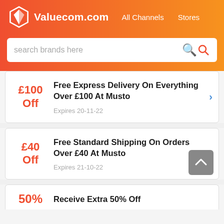Valuecom.com  All Channels  Stores
search brands here
£100 Off
Free Express Delivery On Everything Over £100 At Musto
Expires 20-11-22
£40 Off
Free Standard Shipping On Orders Over £40 At Musto
Expires 21-10-22
50%
Receive Extra 50% Off